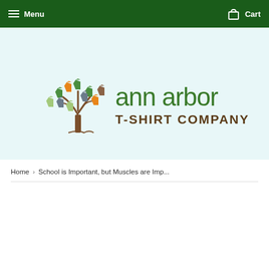Menu  Cart
[Figure (logo): Ann Arbor T-Shirt Company logo: a tree with colorful t-shirts as leaves, beside the text 'ann arbor T-SHIRT COMPANY' in green and brown]
Home › School is Important, but Muscles are Imp...